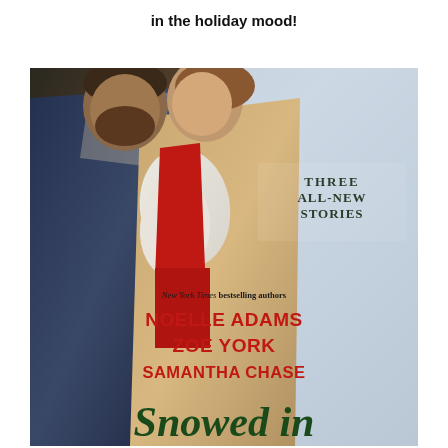in the holiday mood!
[Figure (illustration): Book cover for 'Snowed In' anthology by Noelle Adams, Zoe York, and Samantha Chase. Shows a couple embracing in winter clothing. Text on cover: 'THREE ALL-NEW STORIES', 'New York Times bestselling authors', 'NOELLE ADAMS', 'ZOE YORK', 'SAMANTHA CHASE', 'Snowed in']